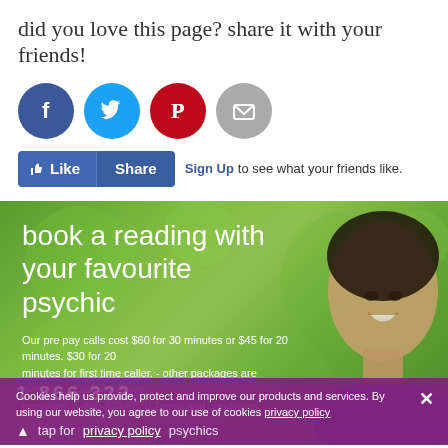did you love this page? share it with your friends!
[Figure (infographic): Social share icons: Facebook (blue circle), Twitter (cyan circle), Pinterest (red circle), Email (grey circle), followed by Like and Share buttons, and a Sign Up link]
[Figure (infographic): Banner with green bokeh background and a man's face on the right. Text: 'book a reading with your favourite psychic'. Body text: 'Our pre pay calls cost $60 for 30 minutes or $45 for 20 minutes. $30 for 20 minutes for first time caller. - other packages are available. Customer care enquiries: 1-866-322-8070 Terms and conditions.']
Cookies help us provide, protect and improve our products and services. By using our website, you agree to our use of cookies privacy policy
tap for psychics